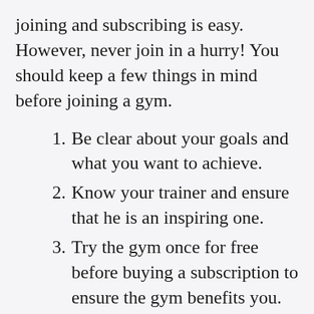joining and subscribing is easy. However, never join in a hurry! You should keep a few things in mind before joining a gym.
Be clear about your goals and what you want to achieve.
Know your trainer and ensure that he is an inspiring one.
Try the gym once for free before buying a subscription to ensure the gym benefits you.
Ensure that your payment receipt is printed and documented.